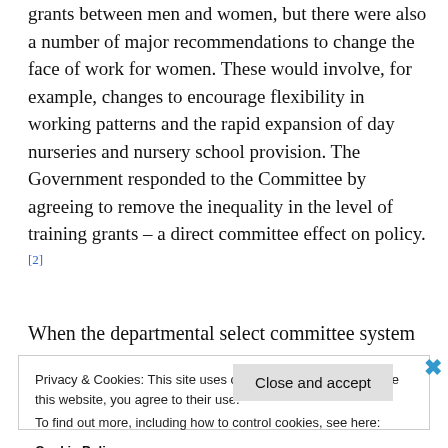grants between men and women, but there were also a number of major recommendations to change the face of work for women. These would involve, for example, changes to encourage flexibility in working patterns and the rapid expansion of day nurseries and nursery school provision. The Government responded to the Committee by agreeing to remove the inequality in the level of training grants – a direct committee effect on policy.[2]
When the departmental select committee system
Privacy & Cookies: This site uses cookies. By continuing to use this website, you agree to their use.
To find out more, including how to control cookies, see here:
Cookie Policy
Close and accept